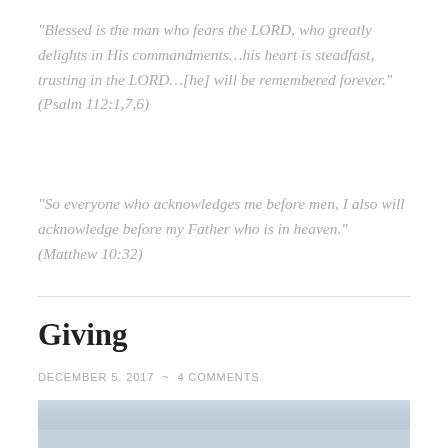“Blessed is the man who fears the LORD, who greatly delights in His commandments…his heart is steadfast, trusting in the LORD…[he] will be remembered forever.” (Psalm 112:1,7,6)
“So everyone who acknowledges me before men, I also will acknowledge before my Father who is in heaven.” (Matthew 10:32)
Giving
DECEMBER 5, 2017  ~  4 COMMENTS
[Figure (photo): A snowy or icy landscape scene, partially visible at the bottom of the page]